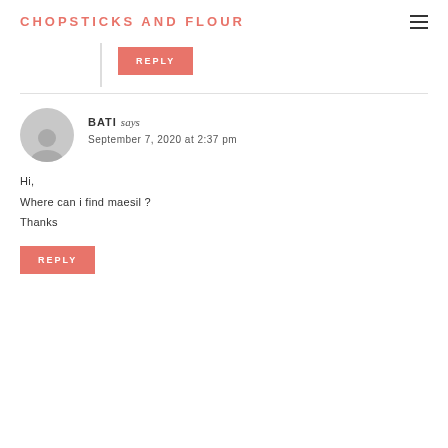CHOPSTICKS AND FLOUR
REPLY
BATI says
September 7, 2020 at 2:37 pm
Hi,
Where can i find maesil ?
Thanks
REPLY